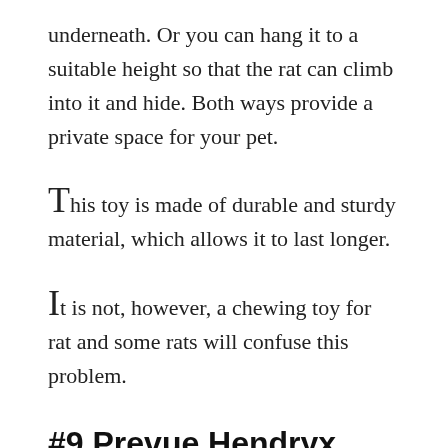underneath. Or you can hang it to a suitable height so that the rat can climb into it and hide. Both ways provide a private space for your pet.
This toy is made of durable and sturdy material, which allows it to last longer.
It is not, however, a chewing toy for rat and some rats will confuse this problem.
#9 Prevue Hendryx Nature's Grass Tunnel Toy (Hand-